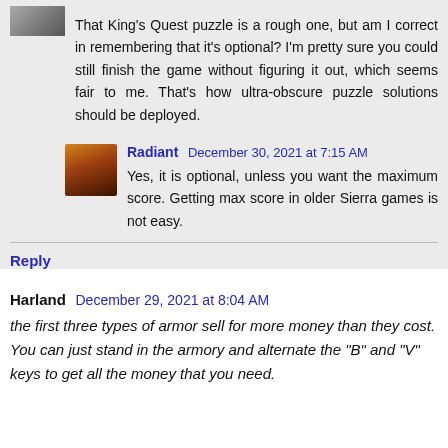That King's Quest puzzle is a rough one, but am I correct in remembering that it's optional? I'm pretty sure you could still finish the game without figuring it out, which seems fair to me. That's how ultra-obscure puzzle solutions should be deployed.
Radiant  December 30, 2021 at 7:15 AM
Yes, it is optional, unless you want the maximum score. Getting max score in older Sierra games is not easy.
Reply
Harland  December 29, 2021 at 8:04 AM
the first three types of armor sell for more money than they cost. You can just stand in the armory and alternate the "B" and "V" keys to get all the money that you need.